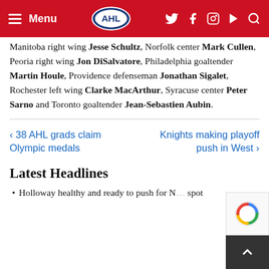AHL Menu
Manitoba right wing Jesse Schultz, Norfolk center Mark Cullen, Peoria right wing Jon DiSalvatore, Philadelphia goaltender Martin Houle, Providence defenseman Jonathan Sigalet, Rochester left wing Clarke MacArthur, Syracuse center Peter Sarno and Toronto goaltender Jean-Sebastien Aubin.
< 38 AHL grads claim Olympic medals
Knights making playoff push in West >
Latest Headlines
Holloway healthy and ready to push for N… spot